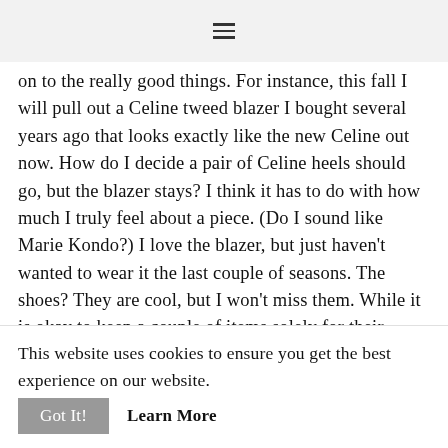≡
on to the really good things. For instance, this fall I will pull out a Celine tweed blazer I bought several years ago that looks exactly like the new Celine out now. How do I decide a pair of Celine heels should go, but the blazer stays? I think it has to do with how much I truly feel about a piece. (Do I sound like Marie Kondo?) I love the blazer, but just haven't wanted to wear it the last couple of seasons. The shoes? They are cool, but I won't miss them. While it is okay to keep a couple of items solely for their nostalgic appeal (mine are a cashmere sweater from
This website uses cookies to ensure you get the best experience on our website.
Got It!
Learn More